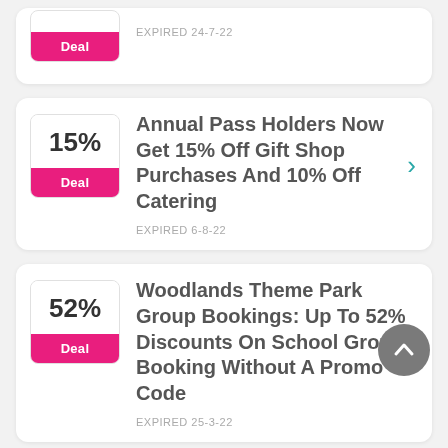[Figure (other): Partial deal card at top showing a pink Deal badge and EXPIRED 24-7-22 text]
Annual Pass Holders Now Get 15% Off Gift Shop Purchases And 10% Off Catering
EXPIRED 6-8-22
Woodlands Theme Park Group Bookings: Up To 52% Discounts On School Groups Booking Without A Promo Code
EXPIRED 25-3-22